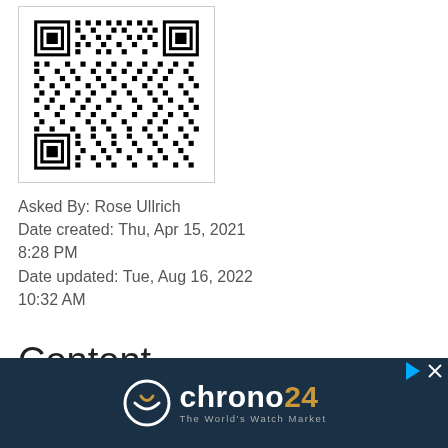[Figure (other): QR code image]
Asked By: Rose Ullrich
Date created: Thu, Apr 15, 2021 8:28 PM
Date updated: Tue, Aug 16, 2022 10:32 AM
Content
[Figure (logo): Chrono24 - The World's Watch Market advertisement banner with logo]